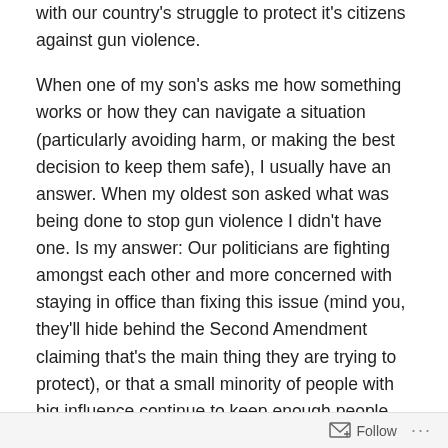with our country's struggle to protect it's citizens against gun violence.
When one of my son's asks me how something works or how they can navigate a situation (particularly avoiding harm, or making the best decision to keep them safe), I usually have an answer. When my oldest son asked what was being done to stop gun violence I didn't have one. Is my answer: Our politicians are fighting amongst each other and more concerned with staying in office than fixing this issue (mind you, they'll hide behind the Second Amendment claiming that's the main thing they are trying to protect), or that a small minority of people with big influence continue to keep enough people scared where they think they need guns? I'm honestly at a loss. It feels like grown-ups acting irresponsibly, and how do I explain
Follow